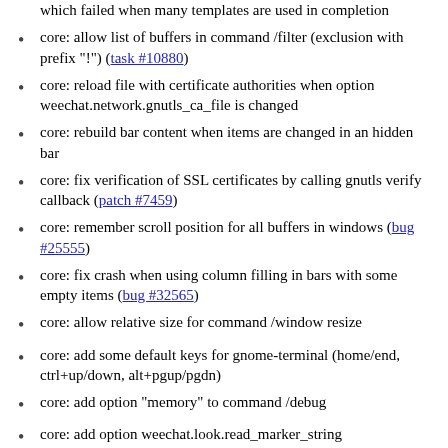which failed when many templates are used in completion
core: allow list of buffers in command /filter (exclusion with prefix "!") (task #10880)
core: reload file with certificate authorities when option weechat.network.gnutls_ca_file is changed
core: rebuild bar content when items are changed in an hidden bar
core: fix verification of SSL certificates by calling gnutls verify callback (patch #7459)
core: remember scroll position for all buffers in windows (bug #25555)
core: fix crash when using column filling in bars with some empty items (bug #32565)
core: allow relative size for command /window resize
core: add some default keys for gnome-terminal (home/end, ctrl+up/down, alt+pgup/pgdn)
core: add option "memory" to command /debug
core: add option weechat.look.read_marker_string
core: improve display of commands lists in /help